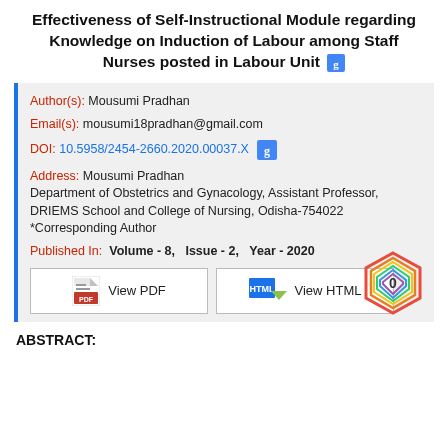Effectiveness of Self-Instructional Module regarding Knowledge on Induction of Labour among Staff Nurses posted in Labour Unit
Author(s): Mousumi Pradhan
Email(s): mousumi18pradhan@gmail.com
DOI: 10.5958/2454-2660.2020.00037.X
Address: Mousumi Pradhan
Department of Obstetrics and Gynacology, Assistant Professor, DRIEMS School and College of Nursing, Odisha-754022
*Corresponding Author
Published In: Volume - 8, Issue - 2, Year - 2020
ABSTRACT: